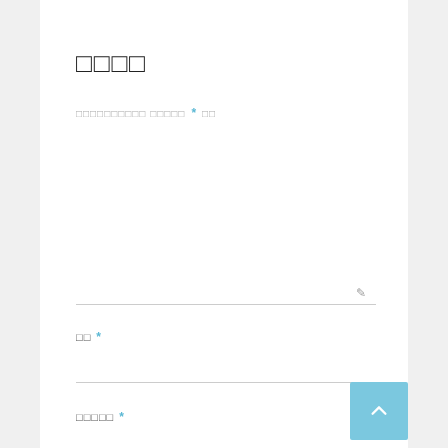□□□□
□□□□□□□□□□ □□□□□ * □□
□□ *
□□□□□ *